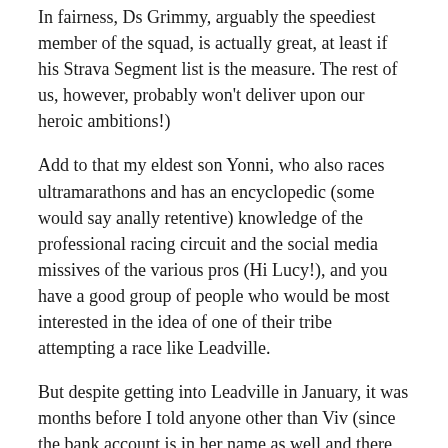In fairness, Ds Grimmy, arguably the speediest member of the squad, is actually great, at least if his Strava Segment list is the measure. The rest of us, however, probably won't deliver upon our heroic ambitions!)
Add to that my eldest son Yonni, who also races ultramarathons and has an encyclopedic (some would say anally retentive) knowledge of the professional racing circuit and the social media missives of the various pros (Hi Lucy!), and you have a good group of people who would be most interested in the idea of one of their tribe attempting a race like Leadville.
But despite getting into Leadville in January, it was months before I told anyone other than Viv (since the bank account is in her name as well and there was the slight complicating factor that I was planning on taking her to crew for me). Even with my entry, flights and accommodation booked and paid, it still felt like a bit of a dream.